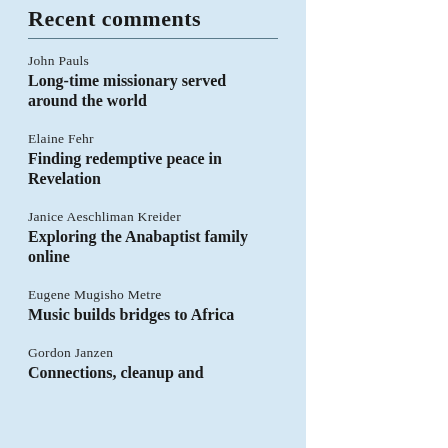Recent comments
John Pauls
Long-time missionary served around the world
Elaine Fehr
Finding redemptive peace in Revelation
Janice Aeschliman Kreider
Exploring the Anabaptist family online
Eugene Mugisho Metre
Music builds bridges to Africa
Gordon Janzen
Connections, cleanup and